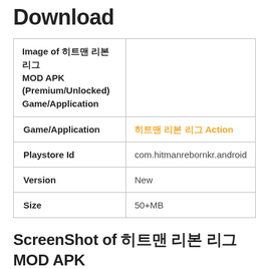Download
| Image of 히트맨 리본 리그 MOD APK (Premium/Unlocked) Game/Application |  |
| Game/Application | 히트맨 리본 리그 Action |
| Playstore Id | com.hitmanrebornkr.android |
| Version | New |
| Size | 50+MB |
ScreenShot of 히트맨 리본 리그 MOD APK (Premium/Unlocked)